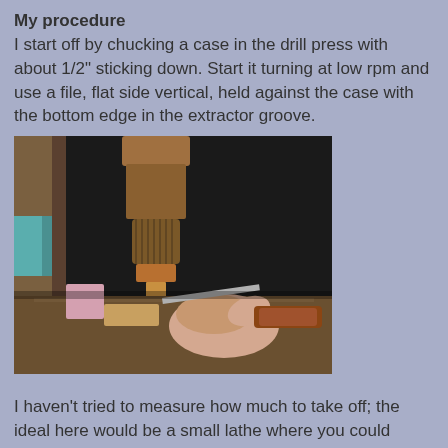My procedure
I start off by chucking a case in the drill press with about 1/2" sticking down. Start it turning at low rpm and use a file, flat side vertical, held against the case with the bottom edge in the extractor groove.
[Figure (photo): A drill press gripping a brass cartridge case, with a hand holding a file with a wooden handle against the spinning case, resting on a metal workbench surface.]
I haven't tried to measure how much to take off; the ideal here would be a small lathe where you could repeatedly shave off an exact amount. But until I have/have access to a